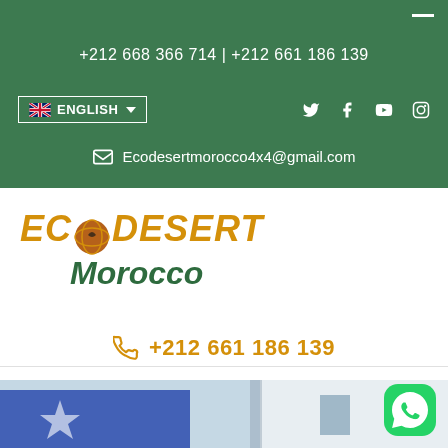+212 668 366 714 | +212 661 186 139
ENGLISH
Ecodesertmorocco4x4@gmail.com
[Figure (logo): ECO DESERT Morocco logo with golden italic text and globe icon]
+212 661 186 139
[Figure (photo): Blue painted wall with star and white building in background, bottom of page]